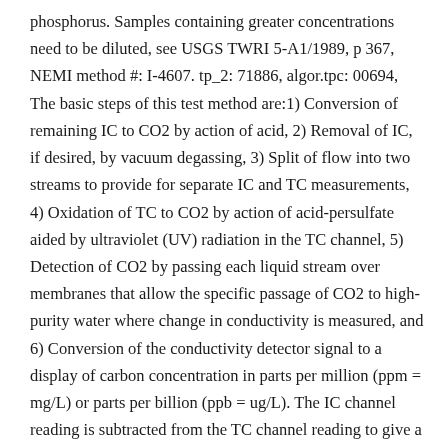phosphorus. Samples containing greater concentrations need to be diluted, see USGS TWRI 5-A1/1989, p 367, NEMI method #: I-4607. tp_2: 71886, algor.tpc: 00694, The basic steps of this test method are:1) Conversion of remaining IC to CO2 by action of acid, 2) Removal of IC, if desired, by vacuum degassing, 3) Split of flow into two streams to provide for separate IC and TC measurements, 4) Oxidation of TC to CO2 by action of acid-persulfate aided by ultraviolet (UV) radiation in the TC channel, 5) Detection of CO2 by passing each liquid stream over membranes that allow the specific passage of CO2 to high-purity water where change in conductivity is measured, and 6) Conversion of the conductivity detector signal to a display of carbon concentration in parts per million (ppm = mg/L) or parts per billion (ppb = ug/L). The IC channel reading is subtracted from the TC channel reading to give a TOC reading, see ASTM Standards, NEMI Method #: D5997. DL= .06 µg/L.tpn: 49570, A weighed amount of dried particulate (from water) or sediment